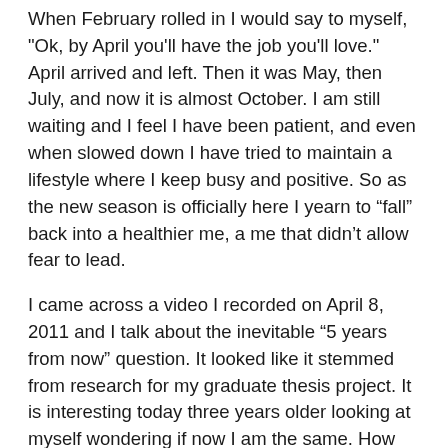When February rolled in I would say to myself, "Ok, by April you'll have the job you'll love." April arrived and left. Then it was May, then July, and now it is almost October. I am still waiting and I feel I have been patient, and even when slowed down I have tried to maintain a lifestyle where I keep busy and positive. So as the new season is officially here I yearn to “fall” back into a healthier me, a me that didn’t allow fear to lead.
I came across a video I recorded on April 8, 2011 and I talk about the inevitable “5 years from now” question. It looked like it stemmed from research for my graduate thesis project. It is interesting today three years older looking at myself wondering if now I am the same. How have I changed and how can I get recharged to continue to believe?